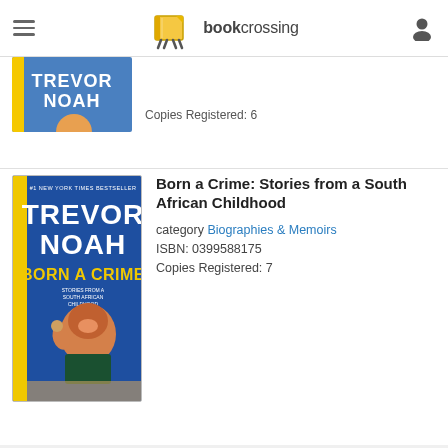[Figure (screenshot): BookCrossing website navigation bar with hamburger menu, BookCrossing logo (book with legs icon), and user profile icon]
[Figure (photo): Partial book cover of Born a Crime by Trevor Noah (first listing, cropped at top)]
Copies Registered: 6
[Figure (photo): Book cover of Born a Crime: Stories from a South African Childhood by Trevor Noah - blue cover with illustrated portrait]
Born a Crime: Stories from a South African Childhood
category Biographies & Memoirs
ISBN: 0399588175
Copies Registered: 7